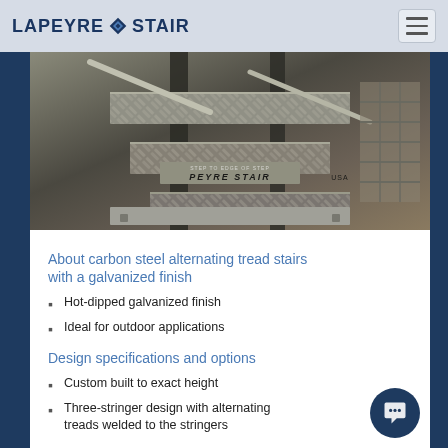LAPEYRE STAIR
[Figure (photo): Close-up photo of carbon steel alternating tread stairs with diamond plate pattern treads and galvanized finish, showing stringers and handrails. A label reads 'PEYRE STAIR USA'.]
About carbon steel alternating tread stairs with a galvanized finish
Hot-dipped galvanized finish
Ideal for outdoor applications
Design specifications and options
Custom built to exact height
Three-stringer design with alternating treads welded to the stringers